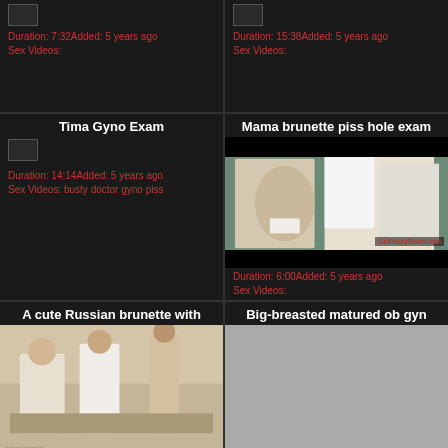[Figure (screenshot): Video thumbnail placeholder top-left with duration and metadata]
Duration: 7:32Added: 5 years ago
Sex Videos:
[Figure (screenshot): Video thumbnail placeholder top-right with duration and metadata]
Duration: 15:38Added: 5 years ago
Sex Videos:
Tima Gyno Exam
[Figure (screenshot): Small broken image placeholder]
Duration: 14:14Added: 5 years ago
Sex Videos: busty doctor gyno piss
Mama brunette piss hole exam
[Figure (photo): Medical exam scene photo with OldPussyExam.com watermark]
Duration: 6:00Added: 5 years ago
Sex Videos:
A cute Russian brunette with
[Figure (photo): Photo of medical exam scene]
Big-breasted matured ob gyn
[Figure (photo): Gray placeholder image]